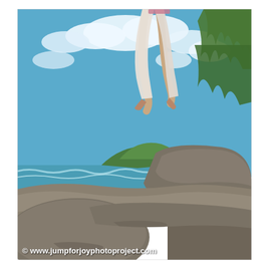[Figure (photo): A person wearing white pants jumps barefoot in mid-air above large coastal rocks. The background shows a blue sky with white clouds, a green headland, and turquoise ocean waves. Vegetation is visible on the right. A watermark reads '© www.jumpforjoyphotoproject.com' in the lower left corner.]